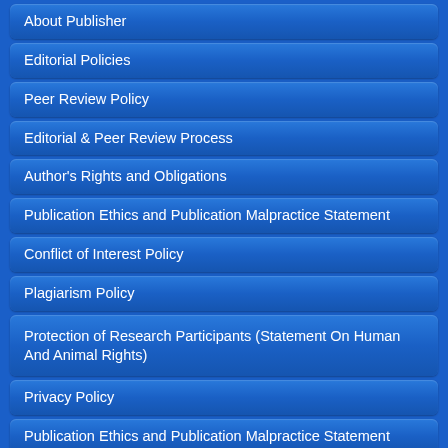About Publisher
Editorial Policies
Peer Review Policy
Editorial & Peer Review Process
Author's Rights and Obligations
Publication Ethics and Publication Malpractice Statement
Conflict of Interest Policy
Plagiarism Policy
Protection of Research Participants (Statement On Human And Animal Rights)
Privacy Policy
Publication Ethics and Publication Malpractice Statement
Corrections, Retractions & Expressions of Concern
Self-Archiving Policies
Statement of Informed Consent